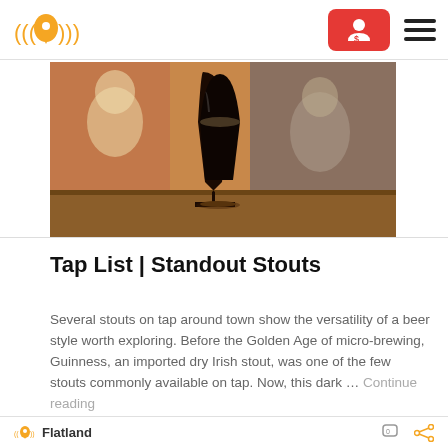Tap List | Standout Stouts — website header with logo, red button, and hamburger menu
[Figure (photo): A dark stout beer in a tall glass on a wooden table, with blurred bar patrons in the background]
Tap List | Standout Stouts
Several stouts on tap around town show the versatility of a beer style worth exploring. Before the Golden Age of micro-brewing, Guinness, an imported dry Irish stout, was one of the few stouts commonly available on tap. Now, this dark … Continue reading
Flatland